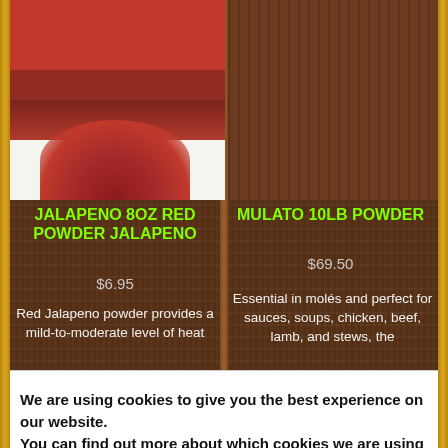[Figure (photo): Photo of red jalapeno powder in a white container/bowl, showing red chili powder pile on white surface]
[Figure (photo): Wood grain brown background for Mulato 10LB Powder product]
JALAPENO 8OZ RED POWDER JALAPENO
MULATO 10LB POWDER
$6.95
$69.50
Red Jalapeno powder provides a mild-to-moderate level of heat
Essential in molés and perfect for sauces, soups, chicken, beef, lamb, and stews, the
We are using cookies to give you the best experience on our website.
You can find out more about which cookies we are using or switch them off in settings.
Accept